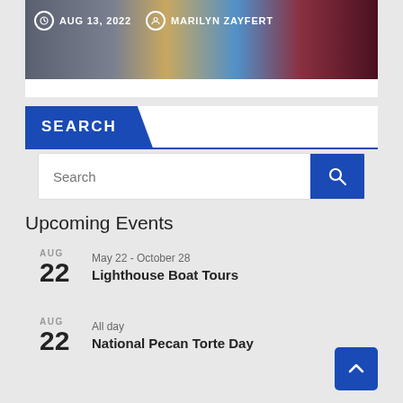[Figure (photo): Image strip showing date 'AUG 13, 2022' and author 'MARILYN ZAYFERT' with overlapping photos including animals and theatrical scenes]
SEARCH
Search
Upcoming Events
AUG 22 May 22 - October 28 Lighthouse Boat Tours
AUG 22 All day National Pecan Torte Day